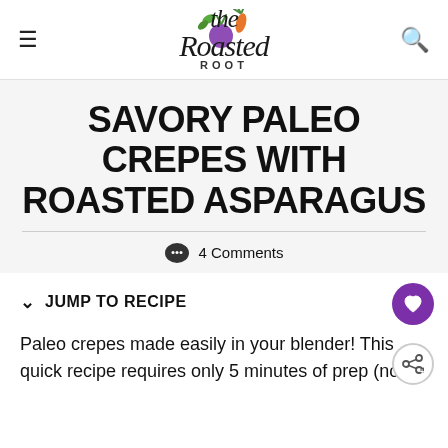The Roasted Root
SAVORY PALEO CREPES WITH ROASTED ASPARAGUS
4 Comments
JUMP TO RECIPE
Paleo crepes made easily in your blender! This quick recipe requires only 5 minutes of prep (no